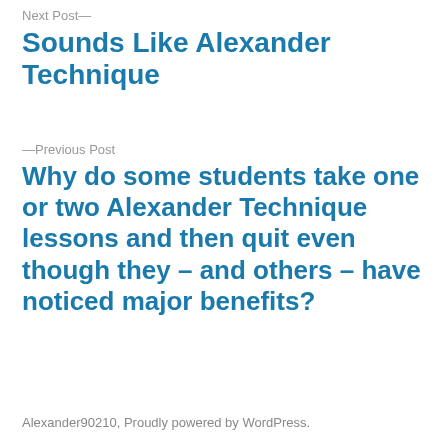Next Post—
Sounds Like Alexander Technique
—Previous Post
Why do some students take one or two Alexander Technique lessons and then quit even though they – and others – have noticed major benefits?
Alexander90210, Proudly powered by WordPress.